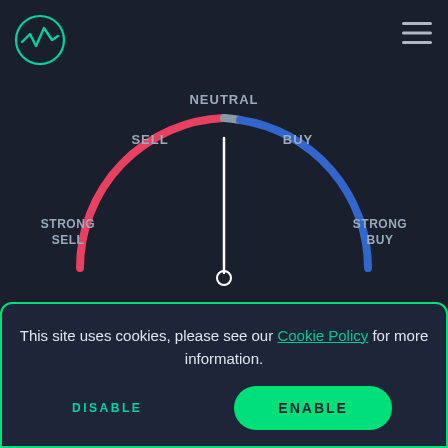[Figure (infographic): Semicircular gauge/speedometer showing trading signal. Left arc is red (STRONG SELL to SELL), right arc is blue (BUY to STRONG BUY), top label NEUTRAL. Needle points to strong sell position (about 220 degrees). Labels: STRONG SELL (left), SELL (left-center), NEUTRAL (top), BUY (right-center), STRONG BUY (right). Small circle at needle base.]
STRONG SELL
16 Sell   10 Neutral   0 Buy
This site uses cookies, please see our Cookie Policy for more information.
DISABLE   ENABLE